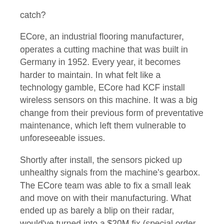catch?
ECore, an industrial flooring manufacturer, operates a cutting machine that was built in Germany in 1952. Every year, it becomes harder to maintain. In what felt like a technology gamble, ECore had KCF install wireless sensors on this machine. It was a big change from their previous form of preventative maintenance, which left them vulnerable to unforeseeable issues.
Shortly after install, the sensors picked up unhealthy signals from the machine's gearbox. The ECore team was able to fix a small leak and move on with their manufacturing. What ended up as barely a blip on their radar, would've turned into a $20M fix (special order parts, roof removal, crane and 26 weeks of downtime!) without the sensors.
This is just one example of KCF Technologies